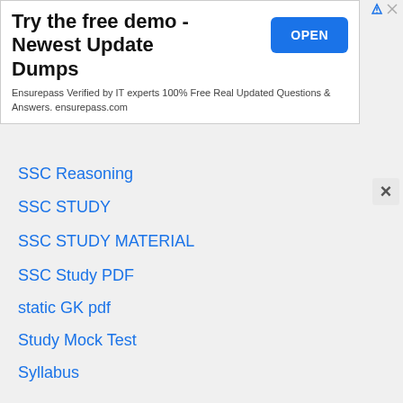[Figure (screenshot): Advertisement banner: 'Try the free demo - Newest Update Dumps' with OPEN button and Ensurepass details]
SSC Reasoning
SSC STUDY
SSC STUDY MATERIAL
SSC Study PDF
static GK pdf
Study Mock Test
Syllabus
Tally Prime Notes
Tally Study
Topic wise Maths Questions
UPPSC PDF